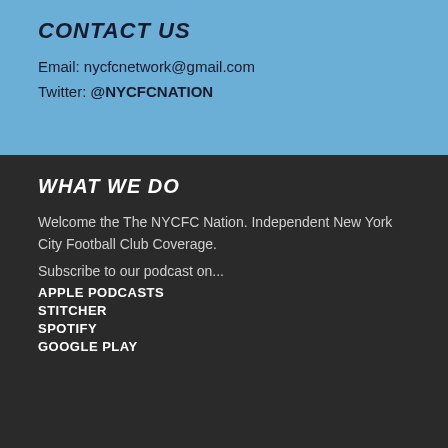CONTACT US
Email: nycfcnetwork@gmail.com
Twitter: @NYCFCNATION
WHAT WE DO
Welcome the The NYCFC Nation. Independent New York City Football Club Coverage.
Subscribe to our podcast on...
APPLE PODCASTS
STITCHER
SPOTIFY
GOOGLE PLAY